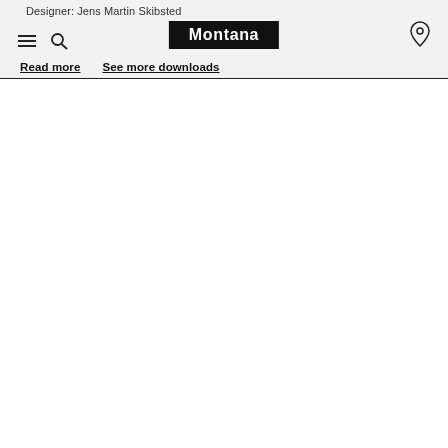Designer: Jens Martin Skibsted
[Figure (logo): Montana brand logo — white text on black background]
Read more
See more downloads